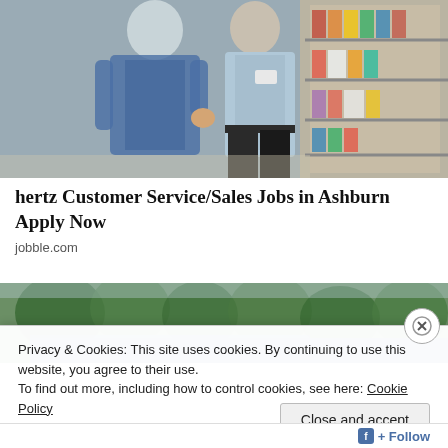[Figure (photo): Two retail workers walking down a store aisle with shelves of products on the right side]
hertz Customer Service/Sales Jobs in Ashburn Apply Now
jobble.com
[Figure (photo): Outdoor photo showing trees and a blue building/tent roof]
Privacy & Cookies: This site uses cookies. By continuing to use this website, you agree to their use.
To find out more, including how to control cookies, see here: Cookie Policy
Close and accept